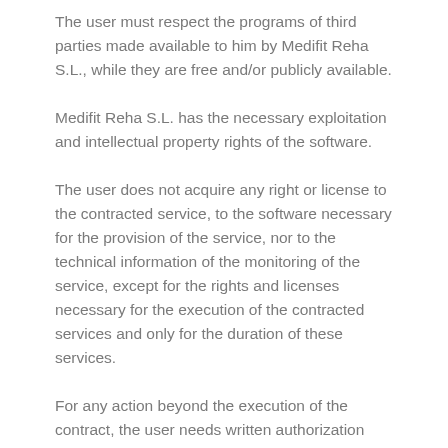The user must respect the programs of third parties made available to him by Medifit Reha S.L., while they are free and/or publicly available.
Medifit Reha S.L. has the necessary exploitation and intellectual property rights of the software.
The user does not acquire any right or license to the contracted service, to the software necessary for the provision of the service, nor to the technical information of the monitoring of the service, except for the rights and licenses necessary for the execution of the contracted services and only for the duration of these services.
For any action beyond the execution of the contract, the user needs written authorization from Medifit Reha S.L., as the user is prohibited from accessing the configuration, structure and files of the servers owned by Medifit Reha S.L., assuming civil and criminal liability